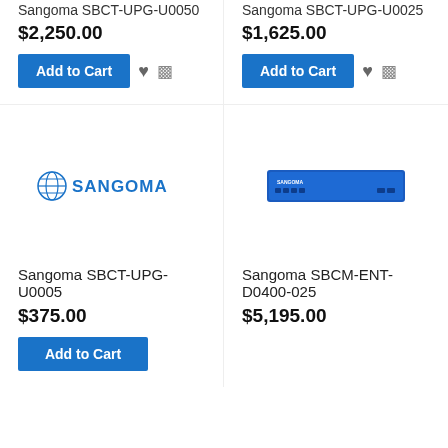Sangoma SBCT-UPG-U0050
$2,250.00
Sangoma SBCT-UPG-U0025
$1,625.00
[Figure (logo): Sangoma logo with globe icon and SANGOMA text in blue]
Sangoma SBCT-UPG-U0005
$375.00
[Figure (photo): Sangoma SBCM-ENT-D0400-025 hardware device, blue rectangular box]
Sangoma SBCM-ENT-D0400-025
$5,195.00